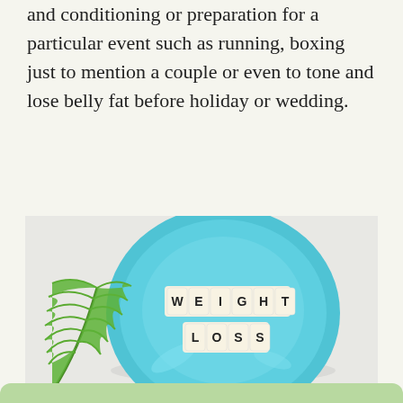and conditioning or preparation for a particular event such as running, boxing just to mention a couple or even to tone and lose belly fat before holiday or wedding.
[Figure (photo): A blue ceramic plate on a light gray background with a green fern leaf beside it. On the plate are wooden scrabble-style letter tiles spelling 'WEIGHT LOSS' in two rows.]